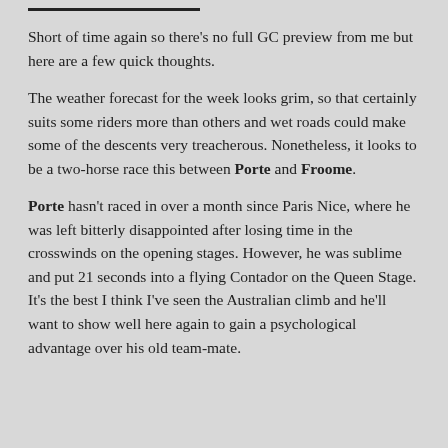Short of time again so there's no full GC preview from me but here are a few quick thoughts.
The weather forecast for the week looks grim, so that certainly suits some riders more than others and wet roads could make some of the descents very treacherous. Nonetheless, it looks to be a two-horse race this between Porte and Froome.
Porte hasn't raced in over a month since Paris Nice, where he was left bitterly disappointed after losing time in the crosswinds on the opening stages. However, he was sublime and put 21 seconds into a flying Contador on the Queen Stage. It's the best I think I've seen the Australian climb and he'll want to show well here again to gain a psychological advantage over his old team-mate.